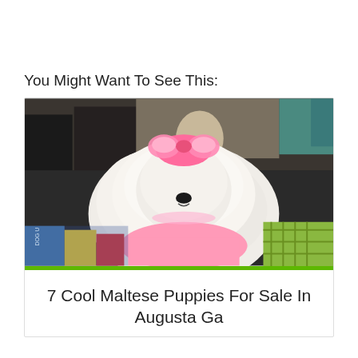You Might Want To See This:
[Figure (photo): A small white Maltese puppy wearing a pink bow and pink outfit, sitting in what appears to be a pet store with colorful products visible in the background.]
7 Cool Maltese Puppies For Sale In Augusta Ga